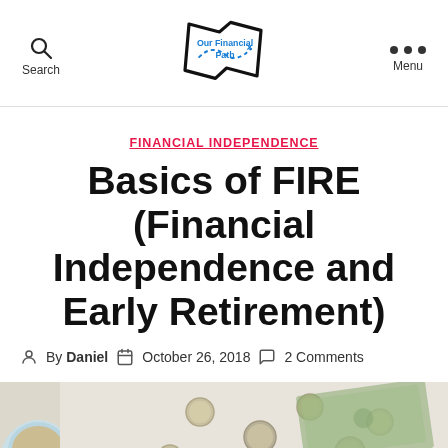Search | Our Financial Path | Menu
FINANCIAL INDEPENDENCE
Basics of FIRE (Financial Independence and Early Retirement)
By Daniel · October 26, 2018 · 2 Comments
[Figure (photo): Overhead photo of coins and paper money on a light marble/table surface with a cup visible on the left edge]